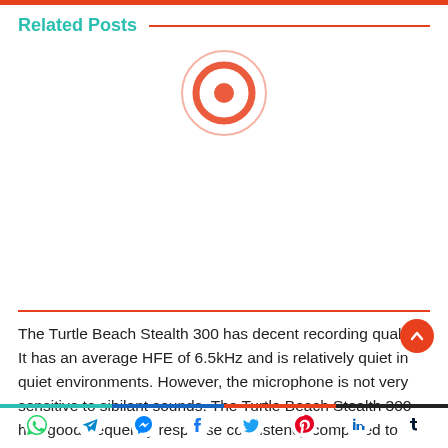Related Posts
[Figure (other): Loading spinner / video play icon — two concentric orange circles]
The Turtle Beach Stealth 300 has decent recording quality. It has an average HFE of 6.5kHz and is relatively quiet in quiet environments. However, the microphone is not very sensitive to sibilant sounds. The Turtle Beach Stealth 300 has good frequency response consistency compared to in-ear headphones. A maximum deviation of three decibels at 20Hz is not too high. Aside from these shortcomings, the Stealth 300 is not perfect for loud environments.